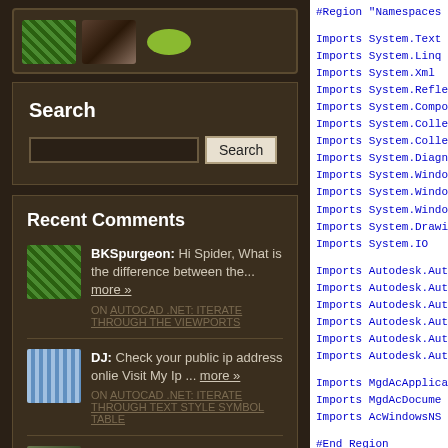[Figure (screenshot): Three thumbnail images: a spider, a deer, and a green oval shape on dark brown background]
Search
Search input box with Search button
Recent Comments
BKSpurgeon: Hi Spider, What is the difference between the... more » ON AUTOCAD .NET: ITERATE THROUGH THE VIEWPORTS
DJ: Check your public ip address onlie Visit My Ip ... more » ON AUTOCAD .NET: ITERATE THROUGH TEXT STYLE SYMBOL TABLE
Spiderinnet1: chrs, you are welcome. It transforms the circl...
#Region "Namespaces"
Imports System.Text
Imports System.Linq
Imports System.Xml
Imports System.Reflec...
Imports System.Compo...
Imports System.Collec...
Imports System.Collec...
Imports System.Diagno...
Imports System.Windo...
Imports System.Windo...
Imports System.Windo...
Imports System.Drawin...
Imports System.IO

Imports Autodesk.Auto...
Imports Autodesk.Auto...
Imports Autodesk.Auto...
Imports Autodesk.Auto...
Imports Autodesk.Auto...
Imports Autodesk.Auto...

Imports MgdAcApplica...
Imports MgdAcDocume...
Imports AcWindowsNS...

#End Region